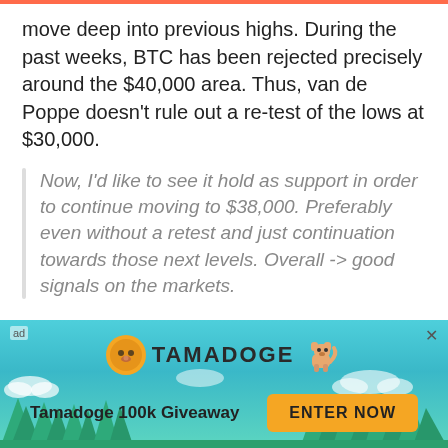move deep into previous highs. During the past weeks, BTC has been rejected precisely around the $40,000 area. Thus, van de Poppe doesn't rule out a re-test of the lows at $30,000.
Now, I'd like to see it hold as support in order to continue moving to $38,000. Preferably even without a retest and just continuation towards those next levels. Overall -> good signals on the markets.
For altcoins such as Ethereum, Cardano, XRP, and others, the outlooks seem less optimistic in the short term. Bitcoin dominance has begun to pick up momentum and it could gain further traction as the
[Figure (infographic): Tamadoge advertisement banner with teal sky background, pine tree silhouettes, Tamadoge coin logo, dog mascot, 'Tamadoge 100k Giveaway' text and 'ENTER NOW' yellow button.]